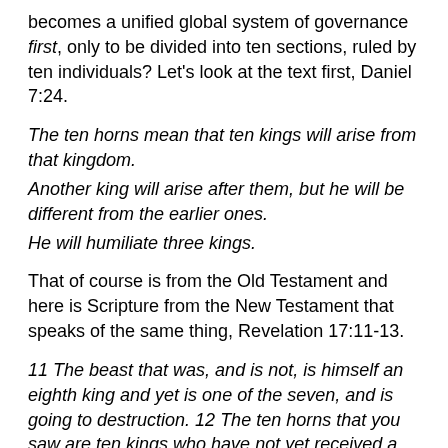becomes a unified global system of governance first, only to be divided into ten sections, ruled by ten individuals? Let's look at the text first, Daniel 7:24.
The ten horns mean that ten kings will arise from that kingdom.
Another king will arise after them, but he will be different from the earlier ones.
He will humiliate three kings.
That of course is from the Old Testament and here is Scripture from the New Testament that speaks of the same thing, Revelation 17:11-13.
11 The beast that was, and is not, is himself an eighth king and yet is one of the seven, and is going to destruction. 12 The ten horns that you saw are ten kings who have not yet received a kingdom, but will receive ruling authority as